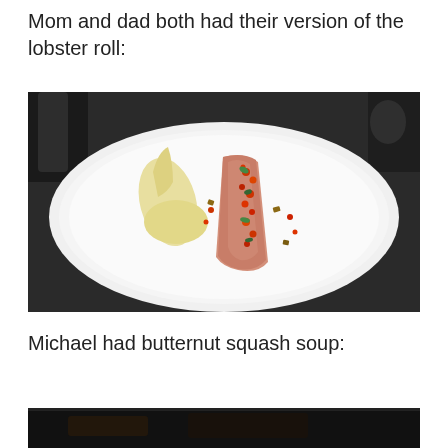Mom and dad both had their version of the lobster roll:
[Figure (photo): A white plate with a lobster roll garnished with red roe and herbs, with a cream-colored sauce smeared beside it.]
Michael had butternut squash soup:
[Figure (photo): Bottom portion of another dish photo, dark background.]